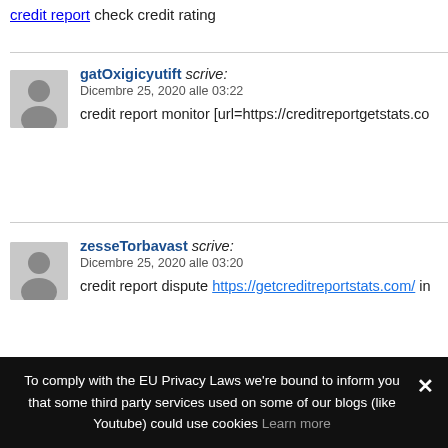credit report check credit rating
gatOxigicyutift scrive:
Dicembre 25, 2020 alle 03:22
credit report monitor [url=https://creditreportgetstats.co
zesseTorbavast scrive:
Dicembre 25, 2020 alle 03:20
credit report dispute https://getcreditreportstats.com/ in
To comply with the EU Privacy Laws we're bound to inform you that some third party services used on some of our blogs (like Youtube) could use cookies Learn more